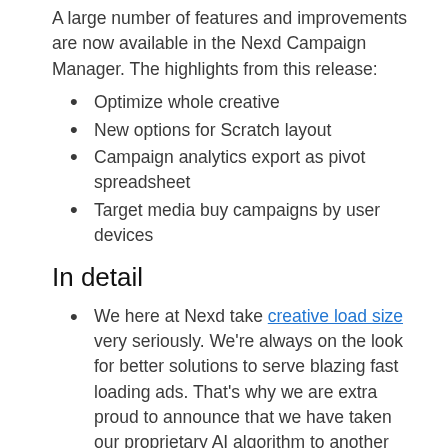A large number of features and improvements are now available in the Nexd Campaign Manager. The highlights from this release:
Optimize whole creative
New options for Scratch layout
Campaign analytics export as pivot spreadsheet
Target media buy campaigns by user devices
In detail
We here at Nexd take creative load size very seriously. We're always on the look for better solutions to serve blazing fast loading ads. That's why we are extra proud to announce that we have taken our proprietary AI algorithm to another level and you can optimize the whole ad with one go. Bear in mind that increasing the quality results in larger load size, and decreasing the quality could also lower campaign performance. And to remind, when you upload an asset to Nexd Campaign